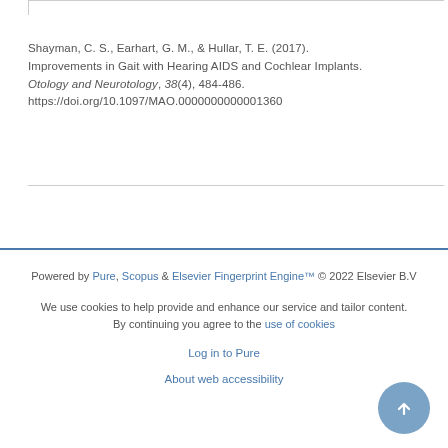Shayman, C. S., Earhart, G. M., & Hullar, T. E. (2017). Improvements in Gait with Hearing AIDS and Cochlear Implants. Otology and Neurotology, 38(4), 484-486. https://doi.org/10.1097/MAO.0000000000001360
Powered by Pure, Scopus & Elsevier Fingerprint Engine™ © 2022 Elsevier B.V
We use cookies to help provide and enhance our service and tailor content. By continuing you agree to the use of cookies
Log in to Pure
About web accessibility